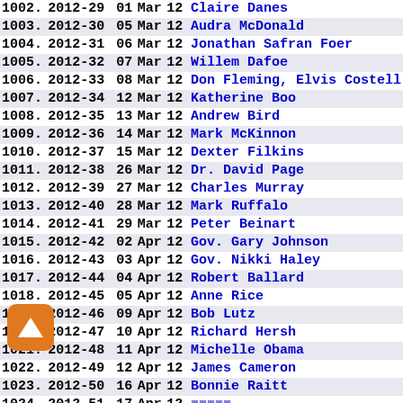| # | Code | Day | Mon | Yr | Name |
| --- | --- | --- | --- | --- | --- |
| 1002. | 2012-29 | 01 | Mar | 12 | Claire Danes |
| 1003. | 2012-30 | 05 | Mar | 12 | Audra McDonald |
| 1004. | 2012-31 | 06 | Mar | 12 | Jonathan Safran Foer |
| 1005. | 2012-32 | 07 | Mar | 12 | Willem Dafoe |
| 1006. | 2012-33 | 08 | Mar | 12 | Don Fleming, Elvis Costell |
| 1007. | 2012-34 | 12 | Mar | 12 | Katherine Boo |
| 1008. | 2012-35 | 13 | Mar | 12 | Andrew Bird |
| 1009. | 2012-36 | 14 | Mar | 12 | Mark McKinnon |
| 1010. | 2012-37 | 15 | Mar | 12 | Dexter Filkins |
| 1011. | 2012-38 | 26 | Mar | 12 | Dr. David Page |
| 1012. | 2012-39 | 27 | Mar | 12 | Charles Murray |
| 1013. | 2012-40 | 28 | Mar | 12 | Mark Ruffalo |
| 1014. | 2012-41 | 29 | Mar | 12 | Peter Beinart |
| 1015. | 2012-42 | 02 | Apr | 12 | Gov. Gary Johnson |
| 1016. | 2012-43 | 03 | Apr | 12 | Gov. Nikki Haley |
| 1017. | 2012-44 | 04 | Apr | 12 | Robert Ballard |
| 1018. | 2012-45 | 05 | Apr | 12 | Anne Rice |
| 1019. | 2012-46 | 09 | Apr | 12 | Bob Lutz |
| 1020. | 2012-47 | 10 | Apr | 12 | Richard Hersh |
| 1021. | 2012-48 | 11 | Apr | 12 | Michelle Obama |
| 1022. | 2012-49 | 12 | Apr | 12 | James Cameron |
| 1023. | 2012-50 | 16 | Apr | 12 | Bonnie Raitt |
| 1024. | 2012-51 | 17 | Apr | 12 | ... |